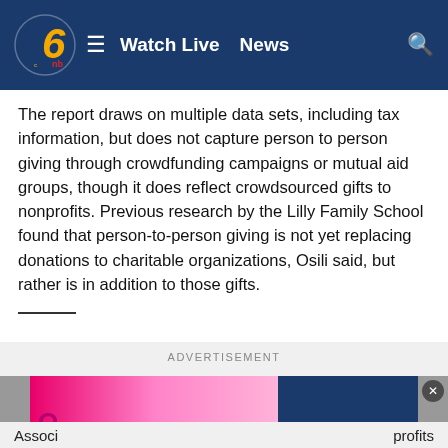Watch Live | News
The report draws on multiple data sets, including tax information, but does not capture person to person giving through crowdfunding campaigns or mutual aid groups, though it does reflect crowdsourced gifts to nonprofits. Previous research by the Lilly Family School found that person-to-person giving is not yet replacing donations to charitable organizations, Osili said, but rather is in addition to those gifts.
[Figure (other): Advertisement banner with pink gradient left section and dark blue right section, with a logo in the bottom left]
Associ ... profits